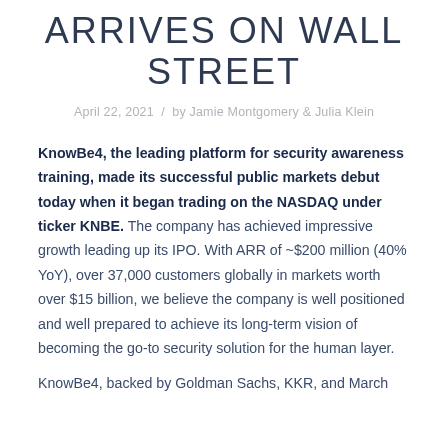ARRIVES ON WALL STREET
April 22, 2021 / by Jamie Montgomery & Julia Klein
KnowBe4, the leading platform for security awareness training, made its successful public markets debut today when it began trading on the NASDAQ under ticker KNBE. The company has achieved impressive growth leading up its IPO. With ARR of ~$200 million (40% YoY), over 37,000 customers globally in markets worth over $15 billion, we believe the company is well positioned and well prepared to achieve its long-term vision of becoming the go-to security solution for the human layer.
KnowBe4, backed by Goldman Sachs, KKR, and March